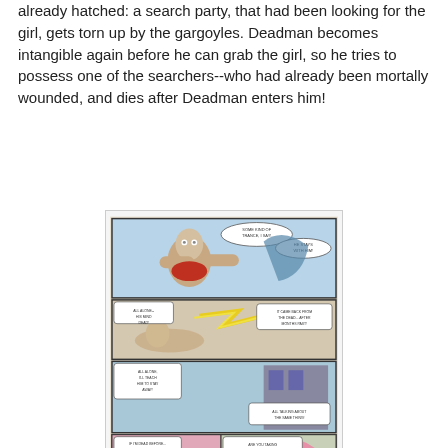already hatched: a search party, that had been looking for the girl, gets torn up by the gargoyles. Deadman becomes intangible again before he can grab the girl, so he tries to possess one of the searchers--who had already been mortally wounded, and dies after Deadman enters him!
[Figure (illustration): A comic book page showing multiple panels featuring Deadman (a pale, bald figure) and large pink demonic/gargoyle creatures with yellow eyes. The panels depict action scenes with speech bubbles.]